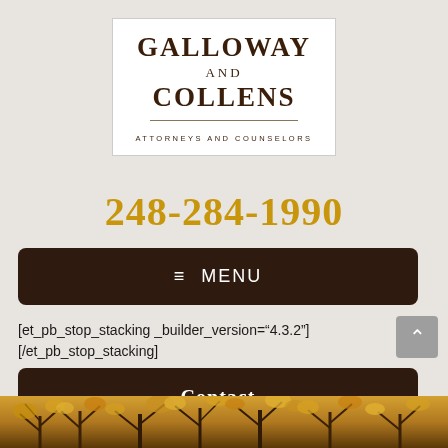[Figure (logo): Galloway and Collens Attorneys and Counselors law firm logo with white background]
248-284-1990
≡ MENU
[et_pb_stop_stacking _builder_version="4.3.2"] [/et_pb_stop_stacking]
Contact
[Figure (photo): Autumn trees with golden foliage background image strip at bottom of page]